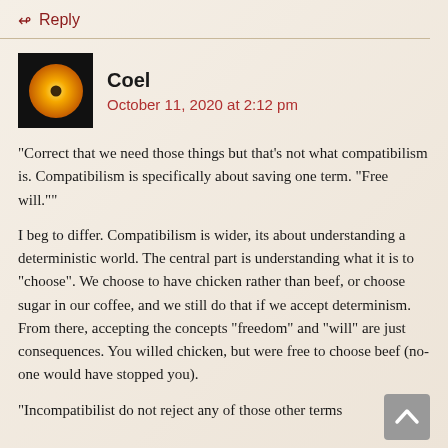↵ Reply
[Figure (photo): User avatar showing a yellow/orange star or sun with a small dark dot, against a dark background]
Coel
October 11, 2020 at 2:12 pm
“Correct that we need those things but that’s not what compatibilism is. Compatibilism is specifically about saving one term. “Free will.””
I beg to differ. Compatibilism is wider, its about understanding a deterministic world. The central part is understanding what it is to “choose”. We choose to have chicken rather than beef, or choose sugar in our coffee, and we still do that if we accept determinism. From there, accepting the concepts “freedom” and “will” are just consequences. You willed chicken, but were free to choose beef (no-one would have stopped you).
“Incompatibilist do not reject any of those other terms